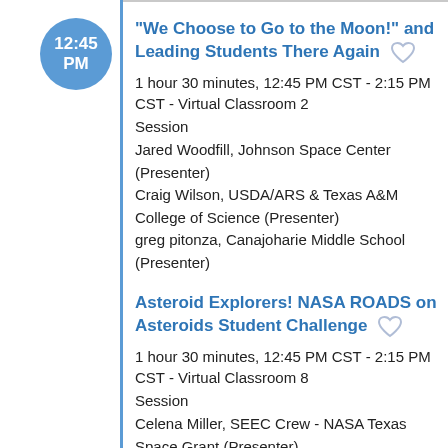12:45 PM
"We Choose to Go to the Moon!" and Leading Students There Again
1 hour 30 minutes, 12:45 PM CST - 2:15 PM CST - Virtual Classroom 2
Session
Jared Woodfill, Johnson Space Center (Presenter)
Craig Wilson, USDA/ARS & Texas A&M College of Science (Presenter)
greg pitonza, Canajoharie Middle School (Presenter)
Asteroid Explorers! NASA ROADS on Asteroids Student Challenge
1 hour 30 minutes, 12:45 PM CST - 2:15 PM CST - Virtual Classroom 8
Session
Celena Miller, SEEC Crew - NASA Texas Space Grant (Presenter)
Nicole Lunning, NASA - Johnson Space Center